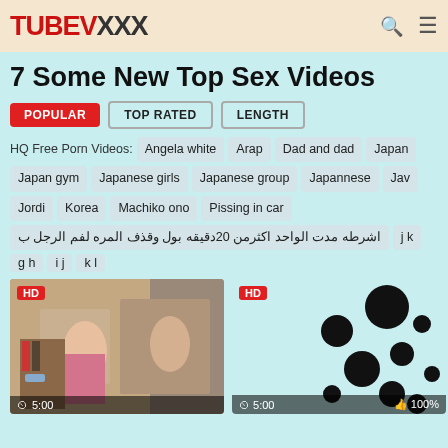TUBEVXXX
7 Some New Top Sex Videos
POPULAR | TOP RATED | LENGTH
HQ Free Porn Videos: Angela white  Arap  Dad and dad  Japan  Japan gym  Japanese girls  Japanese group  Japannese  Jav  Jordi  Korea  Machiko ono  Pissing in car  اشرطه مدت الواحد اكثرمن 20دقيقه بول وقذف المره لفم الرجل ب
[Figure (screenshot): Video thumbnail showing HD badge and 5:00 duration]
[Figure (screenshot): Blurred video thumbnail with HD badge, 5:00 duration, and 100% rating]